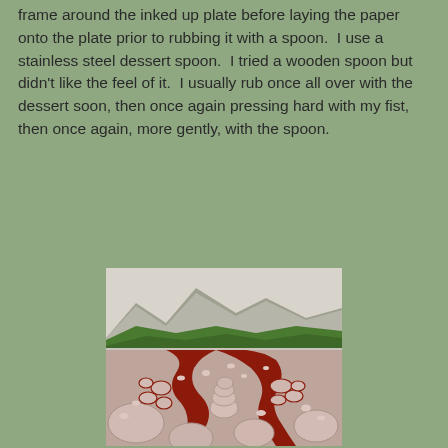frame around the inked up plate before laying the paper onto the plate prior to rubbing it with a spoon.  I use a stainless steel dessert spoon.  I tried a wooden spoon but didn't like the feel of it.  I usually rub once all over with the dessert soon, then once again pressing hard with my fist, then once again, more gently, with the spoon.
[Figure (illustration): A detailed printmaking artwork depicting a rocky mountain river landscape. The foreground shows large rounded stones and boulders arranged in patterns with red/dark red coloring between them, suggesting water or ink. The middle ground shows a winding red path or river through rocky terrain. The background features grey mountains with green forest/trees along the ridge line.]